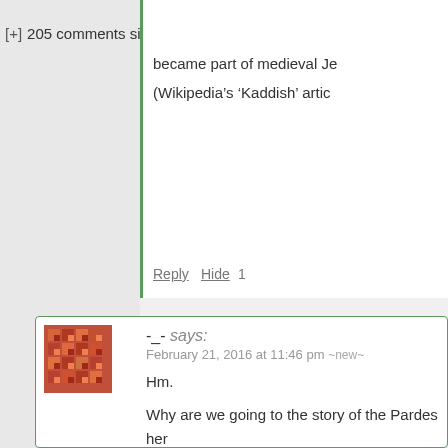[+] 205 comments since 1970-01-01 00:0
became part of medieval Je
(Wikipedia's 'Kaddish' artic
Reply Hide 1
-_- says:
February 21, 2016 at 11:46 pm ~new~
Hm.

Why are we going to the story of the Pardes her
Why not just the Torah, the “tree of life”?
(And then the Comet King could.. well, be any Ta
although probably someone at least pretty signif

Additionally, I’d be surprised if Elisha ben Abuya
Satan had equal status — it would definitely be c
first of all, because Satan is nowhere near the C